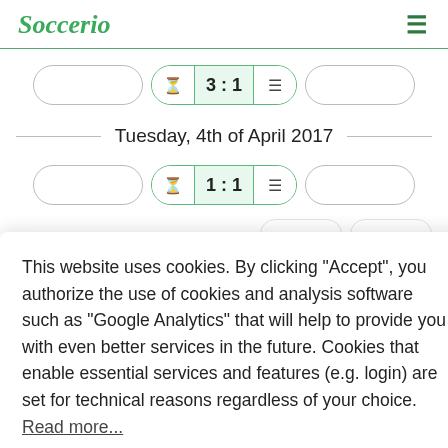Soccerio
[Figure (infographic): Match score widget showing 3:1 with clock icon and menu icon, flanked by two blank team pill buttons]
Tuesday, 4th of April 2017
[Figure (infographic): Match score widget showing 1:1 with clock icon and menu icon, flanked by two blank team pill buttons]
This website uses cookies. By clicking "Accept", you authorize the use of cookies and analysis software such as "Google Analytics" that will help to provide you with even better services in the future. Cookies that enable essential services and features (e.g. login) are set for technical reasons regardless of your choice.  Read more...
Refuse
Accept